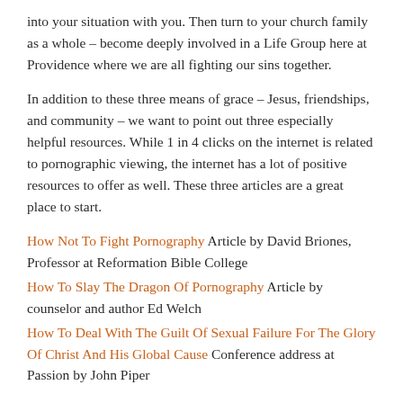into your situation with you. Then turn to your church family as a whole – become deeply involved in a Life Group here at Providence where we are all fighting our sins together.
In addition to these three means of grace – Jesus, friendships, and community – we want to point out three especially helpful resources. While 1 in 4 clicks on the internet is related to pornographic viewing, the internet has a lot of positive resources to offer as well. These three articles are a great place to start.
How Not To Fight Pornography Article by David Briones, Professor at Reformation Bible College
How To Slay The Dragon Of Pornography Article by counselor and author Ed Welch
How To Deal With The Guilt Of Sexual Failure For The Glory Of Christ And His Global Cause Conference address at Passion by John Piper